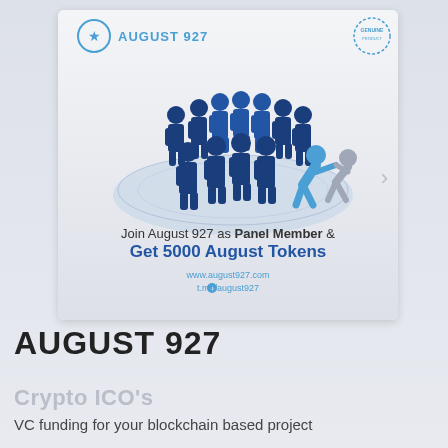[Figure (infographic): August 927 promotional card showing group of people figures standing in a circle arrangement on a platform, with one person being pulled in by a blue figure and a grey figure. Header shows 'AUGUST 927' logo with star icon and 'GENUINE' stamp. Text reads 'Join August 927 as Panel Member & Get 5000 August Tokens'. URLs: www.august927.com and t.me/august927]
AUGUST 927
Crypto ICO's
VC funding for your blockchain based project